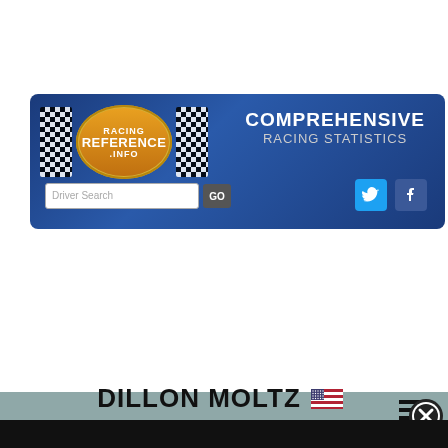[Figure (screenshot): Racing Reference website header banner with logo, 'COMPREHENSIVE RACING STATISTICS' text, search bar, Twitter and Facebook icons]
[Figure (screenshot): Navigation bar with hamburger menu icon and MENU label on right side]
| Links for this driver: |
| --- |
| Video Links (0) | Contact Info (0) |
| Series: ARCA Menards Series | Year: All years | Action: | Results by track | Get The Data |
DILLON MOLTZ